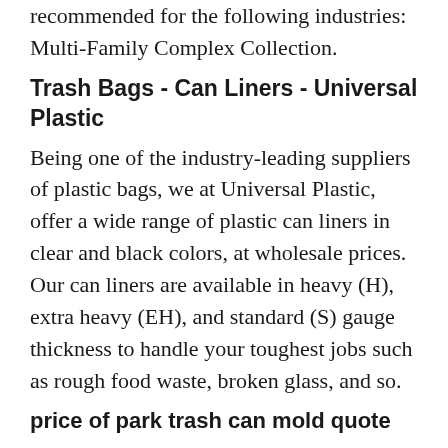recommended for the following industries: Multi-Family Complex Collection.
Trash Bags - Can Liners - Universal Plastic
Being one of the industry-leading suppliers of plastic bags, we at Universal Plastic, offer a wide range of plastic can liners in clear and black colors, at wholesale prices. Our can liners are available in heavy (H), extra heavy (EH), and standard (S) gauge thickness to handle your toughest jobs such as rough food waste, broken glass, and so.
price of park trash can mold quote
Focus on price of park trash can mold quote for 20 years, with hundreds of products and price of park trash can mold quote. To provide a complete one-stop solution is the most correct with us.
Marine plastic pollution costs the world up to $2.5tn